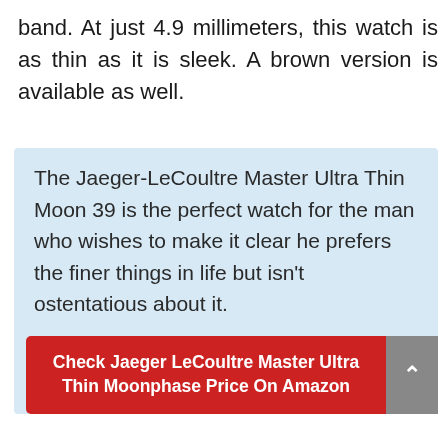band. At just 4.9 millimeters, this watch is as thin as it is sleek. A brown version is available as well.
The Jaeger-LeCoultre Master Ultra Thin Moon 39 is the perfect watch for the man who wishes to make it clear he prefers the finer things in life but isn't ostentatious about it.
Check Jaeger LeCoultre Master Ultra Thin Moonphase Price On Amazon